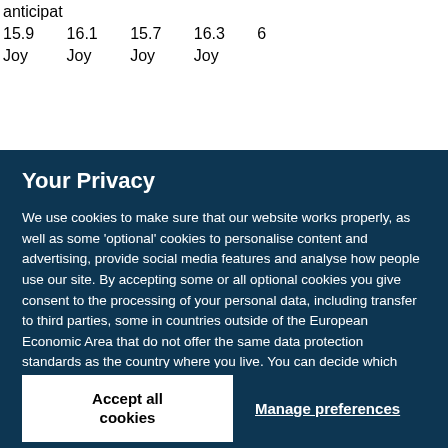| anticipat |  |  |  |  |
| 15.9 | 16.1 | 15.7 | 16.3 | 6 |
| Joy | Joy | Joy | Joy |  |
Your Privacy
We use cookies to make sure that our website works properly, as well as some 'optional' cookies to personalise content and advertising, provide social media features and analyse how people use our site. By accepting some or all optional cookies you give consent to the processing of your personal data, including transfer to third parties, some in countries outside of the European Economic Area that do not offer the same data protection standards as the country where you live. You can decide which optional cookies to accept by clicking on 'Manage Settings', where you can also find more information about how your personal data is processed. Further information can be found in our privacy policy.
Accept all cookies
Manage preferences